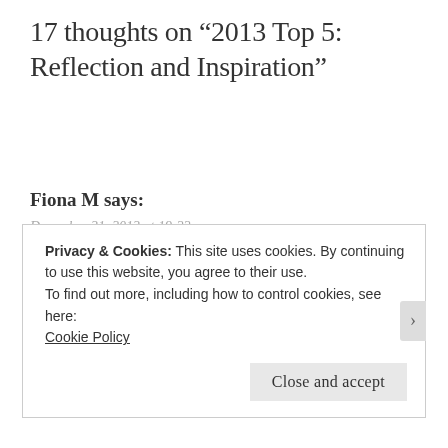17 thoughts on “2013 Top 5: Reflection and Inspiration”
Fiona M says:
December 31, 2013 at 19:22
Nice post Vickikate. If you read my retrospective, you will see that one of my reflections is that ‘I only need to impress myself’.
Happy new year to you!
REPLY
Privacy & Cookies: This site uses cookies. By continuing to use this website, you agree to their use.
To find out more, including how to control cookies, see here:
Cookie Policy
Close and accept